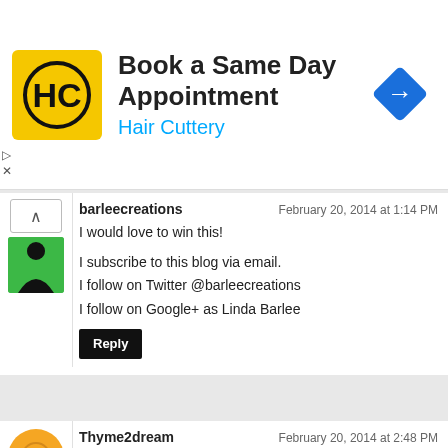[Figure (infographic): Hair Cuttery advertisement banner: HC logo on yellow background, text 'Book a Same Day Appointment' and 'Hair Cuttery', blue directional diamond icon]
barleecreations
February 20, 2014 at 1:14 PM

I would love to win this!

I subscribe to this blog via email.
I follow on Twitter @barleecreations
I follow on Google+ as Linda Barlee

Reply
Thyme2dream
February 20, 2014 at 2:48 PM

Wow, I've been looking for something simple to use for better photos, this looks great! I follow your blog and am tweeting, fb posting and also.g+ sharing the contest...Thanks! :-)

Reply